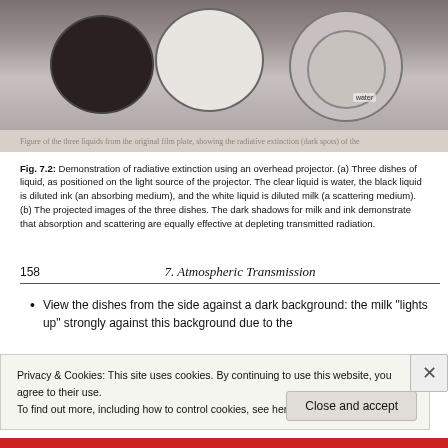[Figure (photo): Photograph of three dishes of liquid positioned on an overhead projector light source. The clear liquid is water (labeled), the black liquid is diluted ink, and the white liquid is diluted milk.]
Fig. 7.2: Demonstration of radiative extinction using an overhead projector. (a) Three dishes of liquid, as positioned on the light source of the projector. The clear liquid is water, the black liquid is diluted ink (an absorbing medium), and the white liquid is diluted milk (a scattering medium). (b) The projected images of the three dishes. The dark shadows for milk and ink demonstrate that absorption and scattering are equally effective at depleting transmitted radiation.
158    7. Atmospheric Transmission
View the dishes from the side against a dark background: the milk "lights up" strongly against this background due to the
Privacy & Cookies: This site uses cookies. By continuing to use this website, you agree to their use.
To find out more, including how to control cookies, see here: Cookie Policy